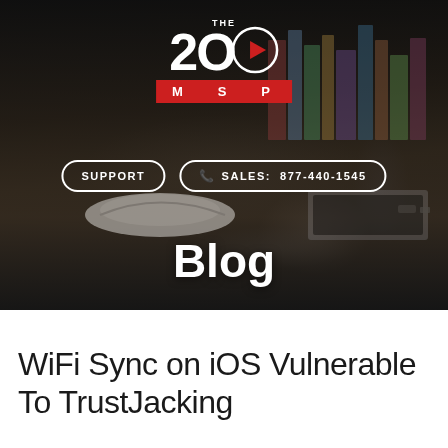[Figure (photo): Dark hero banner with blurred background showing a laptop and Apple Magic Mouse on a desk with bookshelves in the background. The 20 MSP logo is centered at top. Navigation buttons for SUPPORT and SALES phone number are shown. 'Blog' is displayed in large white text at the bottom of the hero image.]
WiFi Sync on iOS Vulnerable To TrustJacking